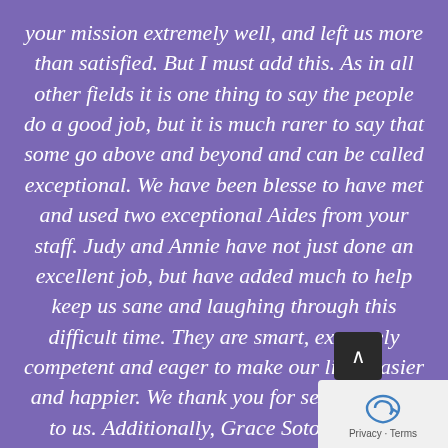your mission extremely well, and left us more than satisfied. But I must add this. As in all other fields it is one thing to say the people do a good job, but it is much rarer to say that some go above and beyond and can be called exceptional. We have been blesse to have met and used two exceptional Aides from your staff. Judy and Annie have not just done an excellent job, but have added much to help keep us sane and laughing through this difficult time. They are smart, extremely competent and eager to make our lives easier and happier. We thank you for sending them to us. Additionally, Grace Soto has been a non-starting whirlwind of accomplishments...